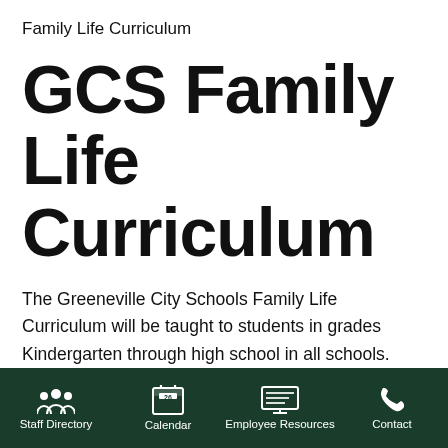Family Life Curriculum
GCS Family Life Curriculum
The Greeneville City Schools Family Life Curriculum will be taught to students in grades Kindergarten through high school in all schools. This is in compliance with Tennessee Code Annotated 49-6-1301-1304 which mandates our school system implement a program of Family Life instruction for students. The Family Life Curriculum team has worked to make this an age-appropriate instructional program following the
Staff Directory | Calendar | Employee Resources | Contact